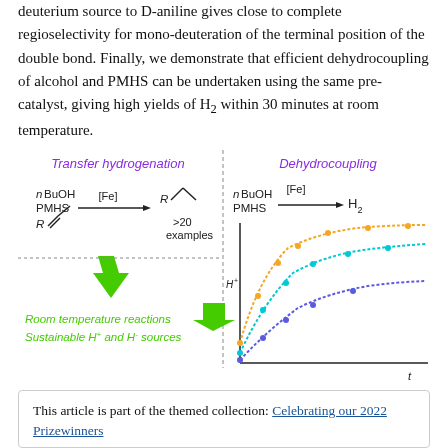deuterium source to D-aniline gives close to complete regioselectivity for mono-deuteration of the terminal position of the double bond. Finally, we demonstrate that efficient dehydrocoupling of alcohol and PMHS can be undertaken using the same pre-catalyst, giving high yields of H₂ within 30 minutes at room temperature.
[Figure (schematic): Graphical abstract showing two reaction schemes. Left: Transfer hydrogenation — nBuOH, PMHS, R-alkene with [Fe] catalyst gives saturated product R, >20 examples, with green arrow pointing down to 'Room temperature reactions' and 'Sustainable H+ and H- sources'. Right: Dehydrocoupling — nBuOH, PMHS with [Fe] catalyst gives H2, with a kinetic curve graph showing three dotted curves (orange, cyan, blue/purple) growing over time (t axis), with a green arrow pointing left.]
This article is part of the themed collection: Celebrating our 2022 Prizewinners